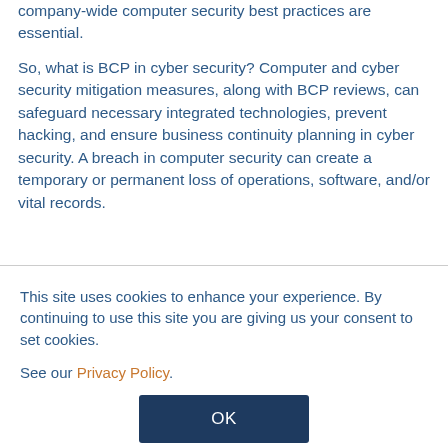company-wide computer security best practices are essential.
So, what is BCP in cyber security? Computer and cyber security mitigation measures, along with BCP reviews, can safeguard necessary integrated technologies, prevent hacking, and ensure business continuity planning in cyber security. A breach in computer security can create a temporary or permanent loss of operations, software, and/or vital records.
This site uses cookies to enhance your experience. By continuing to use this site you are giving us your consent to set cookies.
See our Privacy Policy.
OK